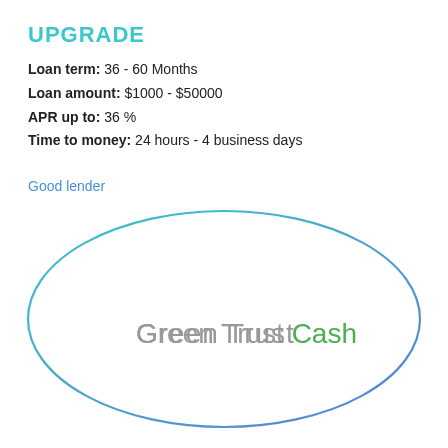UPGRADE
Loan term: 36 - 60 Months
Loan amount: $1000 - $50000
APR up to: 36 %
Time to money: 24 hours - 4 business days
Good lender
[Figure (illustration): Large oval/ellipse outline with 'Green Trust Cash' text inside. 'Green Trust' in gray and 'Cash' in green color.]